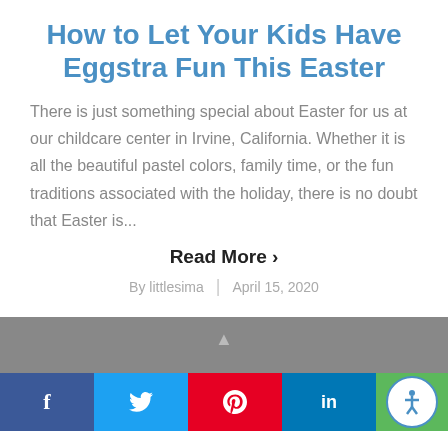How to Let Your Kids Have Eggstra Fun This Easter
There is just something special about Easter for us at our childcare center in Irvine, California. Whether it is all the beautiful pastel colors, family time, or the fun traditions associated with the holiday, there is no doubt that Easter is...
Read More ›
By littlesima | April 15, 2020
▲ [social bar: Facebook, Twitter, Pinterest, LinkedIn, Accessibility]